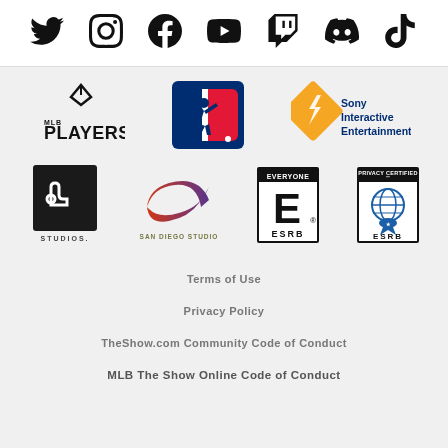[Figure (logo): Social media icons row: Twitter, Instagram, Facebook, YouTube, Twitch, Discord, TikTok]
[Figure (logo): MLB Players Association logo]
[Figure (logo): MLB (Major League Baseball) logo]
[Figure (logo): Sony Interactive Entertainment logo]
[Figure (logo): PlayStation Studios logo]
[Figure (logo): San Diego Studio logo]
[Figure (logo): ESRB Everyone rating logo]
[Figure (logo): ESRB Privacy Certified logo]
Terms of Use
Privacy Policy
TheShow.com Community Code of Conduct
MLB The Show Online Code of Conduct